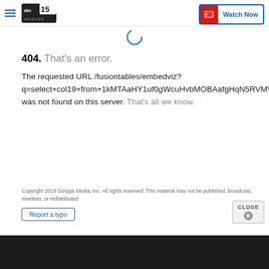abc15 Arizona | Watch Now
[Figure (logo): abc15 Arizona logo with loading spinner below]
404. That's an error.
The requested URL /fusiontables/embedviz?q=select+col19+from+1kMTAaHY1uf0gWcuHvbMOBAafgHqN5RVMVSOl&viz=MAP&h=false&lat=33.47190332 was not found on this server. That's all we know.
Copyright 2018 Scripps Media, Inc. All rights reserved. This material may not be published, broadcast, rewritten, or redistributed.
Report a typo
CLOSE